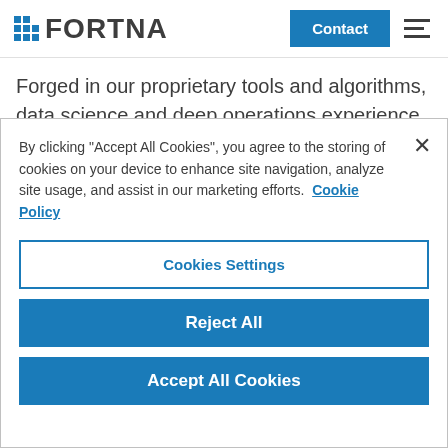FORTNA — Contact / Menu header
Forged in our proprietary tools and algorithms, data science and deep operations experience empower Fortna teams to identify the root causes of poor performance. We then design and implement innovative
By clicking "Accept All Cookies", you agree to the storing of cookies on your device to enhance site navigation, analyze site usage, and assist in our marketing efforts.  Cookie Policy
Cookies Settings
Reject All
Accept All Cookies